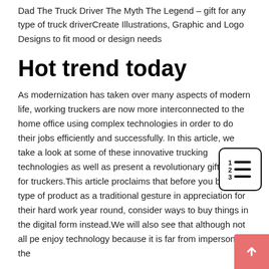Dad The Truck Driver The Myth The Legend – gift for any type of truck driverCreate Illustrations, Graphic and Logo Designs to fit mood or design needs
Hot trend today
As modernization has taken over many aspects of modern life, working truckers are now more interconnected to the home office using complex technologies in order to do their jobs efficiently and successfully. In this article, we take a look at some of these innovative trucking technologies as well as present a revolutionary gift idea for truckers.This article proclaims that before you buy any type of product as a traditional gesture in appreciation for their hard work year round, consider ways to buy things in the digital form instead.We will also see that although not all pe enjoy technology because it is far from impersonal, the